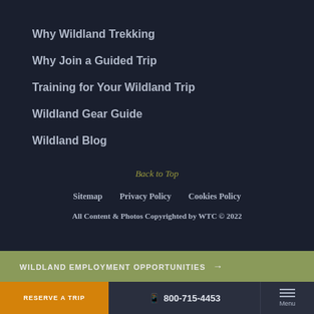Why Wildland Trekking
Why Join a Guided Trip
Training for Your Wildland Trip
Wildland Gear Guide
Wildland Blog
Back to Top
Sitemap   Privacy Policy   Cookies Policy
All Content & Photos Copyrighted by WTC © 2022
WILDLAND EMPLOYMENT OPPORTUNITIES →
RESERVE A TRIP
800-715-4453
Menu